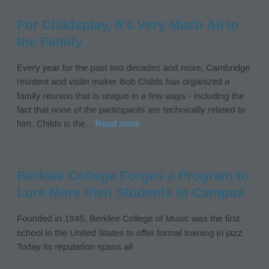For Childsplay, It's Very Much All in the Family
Every year for the past two decades and more, Cambridge resident and violin maker Bob Childs has organized a family reunion that is unique in a few ways - including the fact that none of the participants are technically related to him. Childs is the... Read more
Berklee College Forges a Program to Lure More Irish Students to Campus
Founded in 1945, Berklee College of Music was the first school in the United States to offer formal training in jazz.  Today its reputation spans all